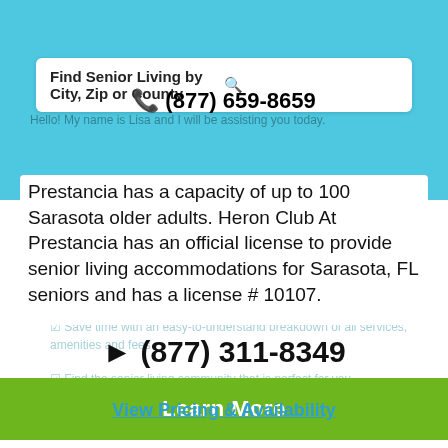[Figure (screenshot): Website UI showing a search bar with text 'Find Senior Living by City, Zip or County' and a search icon, rendered on a teal/blue background.]
☎ (877) 659-8659
Prestancia has a capacity of up to 100 Sarasota older adults. Heron Club At Prestancia has an official license to provide senior living accommodations for Sarasota, FL seniors and has a license # 10107.
☎ (877) 311-8349
Learn More
View Pricing & Availability
Or call (877) 663-0047